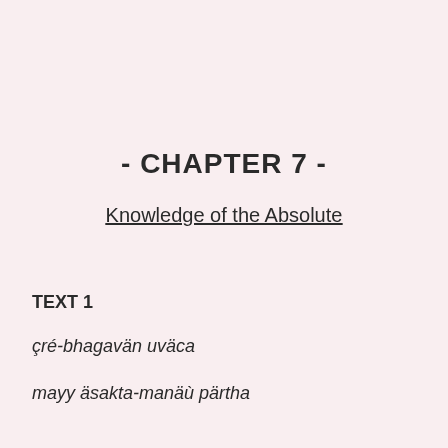- CHAPTER 7 -
Knowledge of the Absolute
TEXT 1
çré-bhagavän uväca
mayy äsakta-manäù pärtha